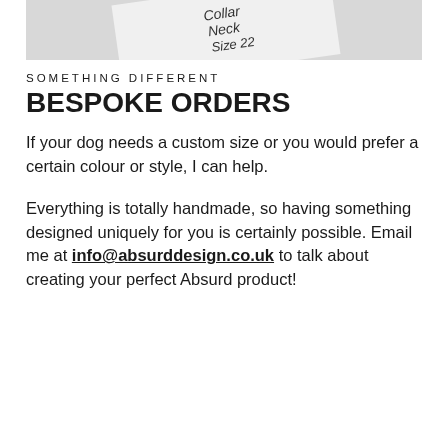[Figure (photo): Handwritten note on a tag or card reading 'COLLAR NECK SIZE 22' in cursive handwriting, photographed at an angle against a light background.]
SOMETHING DIFFERENT
BESPOKE ORDERS
If your dog needs a custom size or you would prefer a certain colour or style, I can help.
Everything is totally handmade, so having something designed uniquely for you is certainly possible. Email me at info@absurddesign.co.uk to talk about creating your perfect Absurd product!